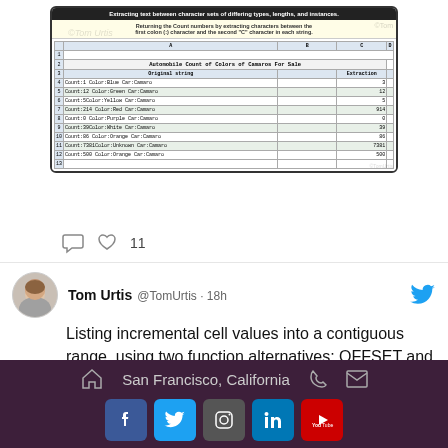[Figure (screenshot): Screenshot of Excel spreadsheet showing 'Automobile Count of Colors of Camaros For Sale' table with Original string and Extraction columns. Title bar reads: Extracting text between character sets of differing types, lengths, and instances.]
11
Tom Urtis @TomUrtis · 18h
Listing incremental cell values into a contiguous range, using two function alternatives: OFFSET and INDEX.
[Figure (screenshot): Partial screenshot of Excel spreadsheet at bottom]
San Francisco, California